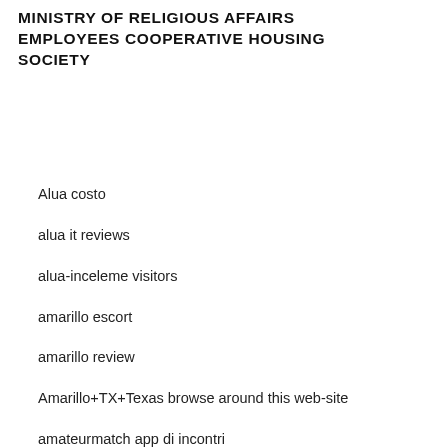MINISTRY OF RELIGIOUS AFFAIRS EMPLOYEES COOPERATIVE HOUSING SOCIETY
Alua costo
alua it reviews
alua-inceleme visitors
amarillo escort
amarillo review
Amarillo+TX+Texas browse around this web-site
amateurmatch app di incontri
amateurmatch customer service
amateurmatch it review
amateurmatch it reviews